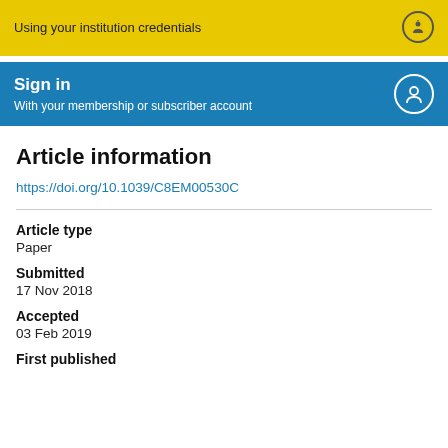Using your institution credentials
Sign in
With your membership or subscriber account
Article information
https://doi.org/10.1039/C8EM00530C
Article type
Paper
Submitted
17 Nov 2018
Accepted
03 Feb 2019
First published